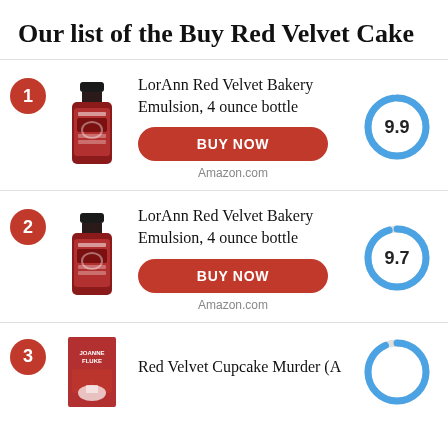Our list of the Buy Red Velvet Cake
1 LorAnn Red Velvet Bakery Emulsion, 4 ounce bottle | Score: 9.9 | BUY NOW | Amazon.com
2 LorAnn Red Velvet Bakery Emulsion, 4 ounce bottle | Score: 9.7 | BUY NOW | Amazon.com
3 Red Velvet Cupcake Murder (A